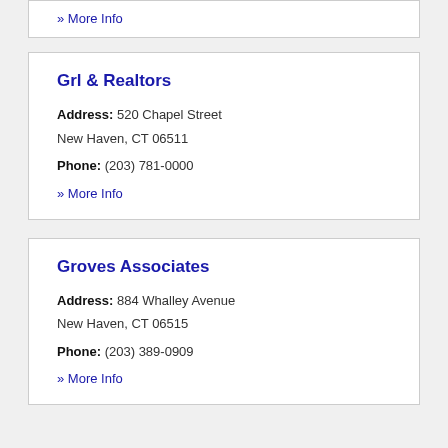» More Info
Grl & Realtors
Address: 520 Chapel Street
New Haven, CT 06511
Phone: (203) 781-0000
» More Info
Groves Associates
Address: 884 Whalley Avenue
New Haven, CT 06515
Phone: (203) 389-0909
» More Info